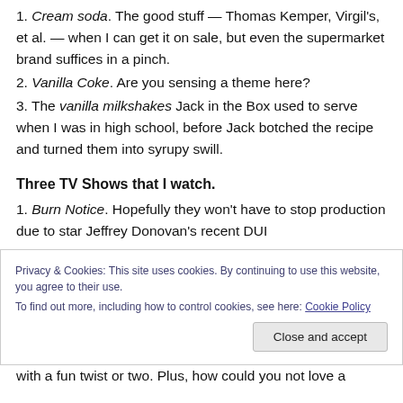1. Cream soda. The good stuff — Thomas Kemper, Virgil's, et al. — when I can get it on sale, but even the supermarket brand suffices in a pinch.
2. Vanilla Coke. Are you sensing a theme here?
3. The vanilla milkshakes Jack in the Box used to serve when I was in high school, before Jack botched the recipe and turned them into syrupy swill.
Three TV Shows that I watch.
1. Burn Notice. Hopefully they won't have to stop production due to star Jeffrey Donovan's recent DUI
Privacy & Cookies: This site uses cookies. By continuing to use this website, you agree to their use.
To find out more, including how to control cookies, see here: Cookie Policy
with a fun twist or two. Plus, how could you not love a